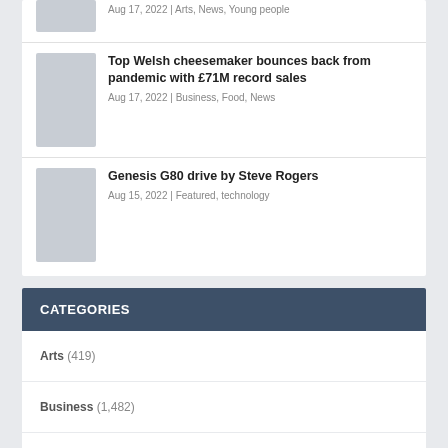Aug 17, 2022 | Arts, News, Young people
Top Welsh cheesemaker bounces back from pandemic with £71M record sales
Aug 17, 2022 | Business, Food, News
Genesis G80 drive by Steve Rogers
Aug 15, 2022 | Featured, technology
CATEGORIES
Arts (419)
Business (1,482)
Charity (442)